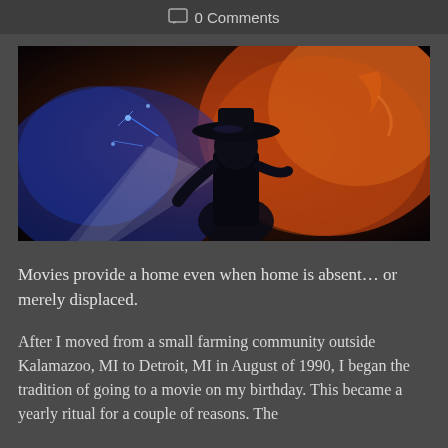0 Comments
[Figure (illustration): Dark movie poster-style illustration of a silhouetted figure wearing a wide-brimmed hat, surrounded by swirling blue and orange/flame-colored light effects against a dark background.]
Movies provide a home even when home is absent… or merely displaced.
After I moved from a small farming community outside Kalamazoo, MI to Detroit, MI in August of 1990, I began the tradition of going to a movie on my birthday. This became a yearly ritual for a couple of reasons. The